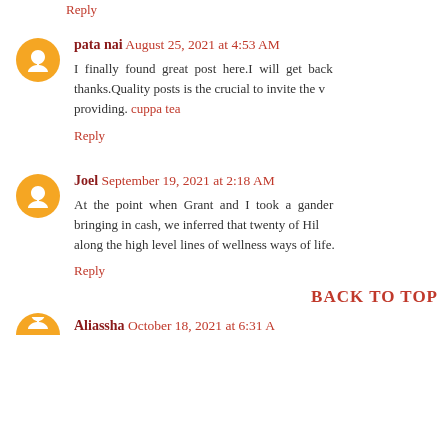Reply
pata nai August 25, 2021 at 4:53 AM
I finally found great post here.I will get back thanks.Quality posts is the crucial to invite the v providing. cuppa tea
Reply
Joel September 19, 2021 at 2:18 AM
At the point when Grant and I took a gander bringing in cash, we inferred that twenty of Hil along the high level lines of wellness ways of life.
Reply
BACK TO TOP
Aliassha October 18, 2021 at 6:31 AM